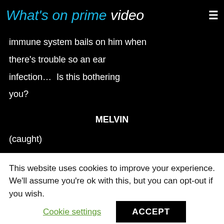What's on prime video
immune system bails on him when there's trouble so an ear infection…  Is this bothering you?
MELVIN
(caught)
No
This website uses cookies to improve your experience. We'll assume you're ok with this, but you can opt-out if you wish.
Cookie settings | ACCEPT